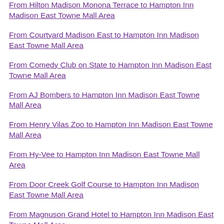From Hilton Madison Monona Terrace to Hampton Inn Madison East Towne Mall Area
From Courtyard Madison East to Hampton Inn Madison East Towne Mall Area
From Comedy Club on State to Hampton Inn Madison East Towne Mall Area
From AJ Bombers to Hampton Inn Madison East Towne Mall Area
From Henry Vilas Zoo to Hampton Inn Madison East Towne Mall Area
From Hy-Vee to Hampton Inn Madison East Towne Mall Area
From Door Creek Golf Course to Hampton Inn Madison East Towne Mall Area
From Magnuson Grand Hotel to Hampton Inn Madison East Towne Mall Area